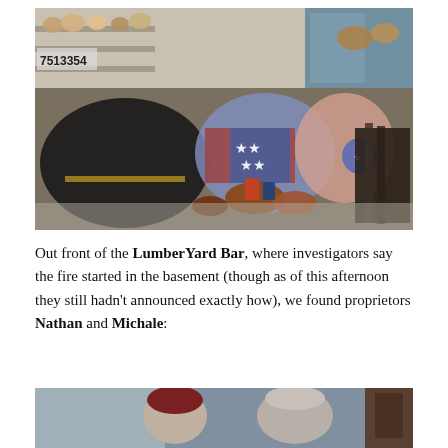[Figure (photo): Outdoor market scene with miscellaneous goods, baskets, bowls, decorative items and figurines spread out on the ground and shelving in front of a store. Visible number 7513354 on shelf. Superhero-themed stuffed figures visible among the items.]
Out front of the LumberYard Bar, where investigators say the fire started in the basement (though as of this afternoon they still hadn't announced exactly how), we found proprietors Nathan and Michale:
[Figure (photo): Two men photographed outdoors in front of a building. One wears a dark red/maroon cap and the other has grey/white hair.]